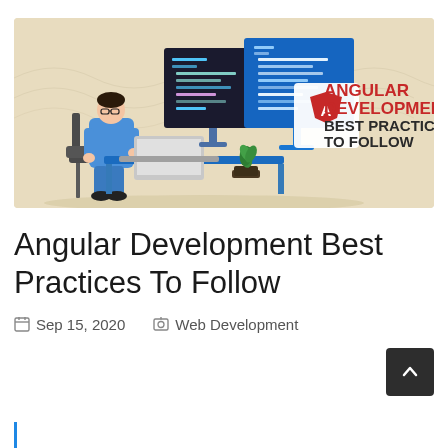[Figure (illustration): Illustration of Angular Development Best Practices To Follow: a developer sitting at a desk with large code editor screens and the Angular logo (red shield with A), with text reading 'ANGULAR DEVELOPMENT BEST PRACTICES TO FOLLOW' in bold red and dark colors on a beige background.]
Angular Development Best Practices To Follow
Sep 15, 2020   Web Development